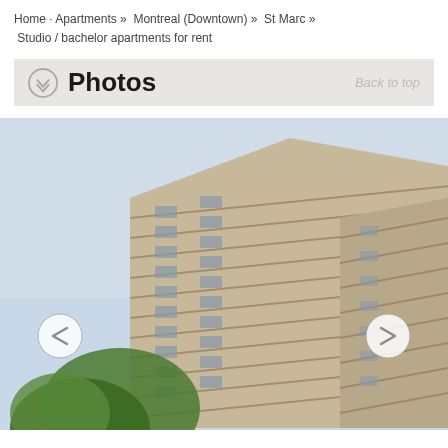Home · Apartments »  Montreal (Downtown) »  St Marc »  Studio / bachelor apartments for rent
Photos
[Figure (photo): Exterior photo of a tall brutalist-style residential apartment building with concrete balconies and windows, taken from a low angle against a light blue sky, with green trees visible in the lower left]